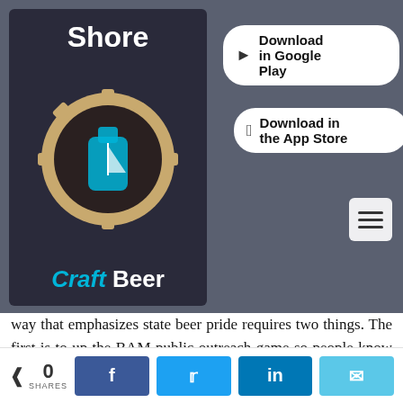[Figure (screenshot): Shore Craft Beer app logo with gear design, blue bottle, and download buttons for Google Play and App Store on a dark background]
way that emphasizes state beer pride requires two things. The first is to up the BAM public outreach game so people know there's such a thing and that it is not only a lobbying group but an entity actively working for the improvement of beer culture. To this end, you can expect to see more from them boosting BAM as an entity as well as promoting brewery events statewide.

"Everybody I talked to was interested in participating in BAM,"said Atticks. "They thanked me for asking them. They
0 SHARES  [Facebook] [Twitter] [LinkedIn] [Email]